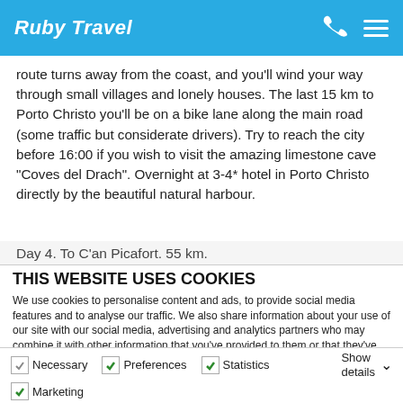Ruby Travel
route turns away from the coast, and you'll wind your way through small villages and lonely houses. The last 15 km to Porto Christo you'll be on a bike lane along the main road (some traffic but considerate drivers). Try to reach the city before 16:00 if you wish to visit the amazing limestone cave "Coves del Drach". Overnight at 3-4* hotel in Porto Christo directly by the beautiful natural harbour.
Day 4. To C'an Picafort. 55 km.
THIS WEBSITE USES COOKIES
We use cookies to personalise content and ads, to provide social media features and to analyse our traffic. We also share information about your use of our site with our social media, advertising and analytics partners who may combine it with other information that you've provided to them or that they've collected from your use of their services.
Deny | Allow selection | Allow all
Necessary  Preferences  Statistics  Marketing  Show details